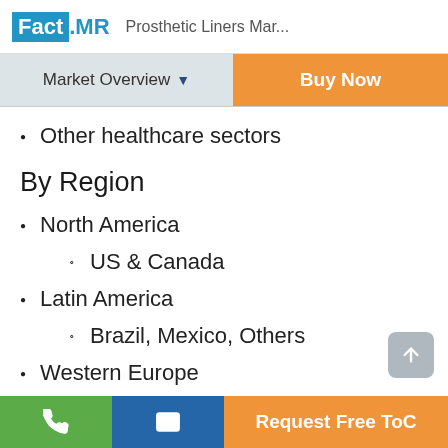Fact.MR Prosthetic Liners Mar...
Other healthcare sectors
By Region
North America
US & Canada
Latin America
Brazil, Mexico, Others
Western Europe
EU5
Request Free ToC